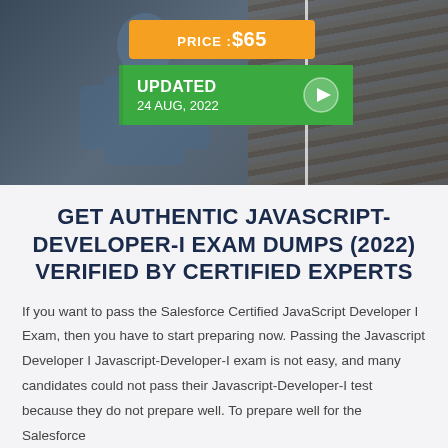[Figure (screenshot): Hero section with dark background showing a person in blue shirt with crossed arms, price badge showing PRICE:$65 in orange, and a green UPDATED bar showing '24 AUG, 2022' with a play button icon.]
GET AUTHENTIC JAVASCRIPT-DEVELOPER-I EXAM DUMPS (2022) VERIFIED BY CERTIFIED EXPERTS
If you want to pass the Salesforce Certified JavaScript Developer I Exam, then you have to start preparing now. Passing the Javascript Developer I Javascript-Developer-I exam is not easy, and many candidates could not pass their Javascript-Developer-I test because they do not prepare well. To prepare well for the Salesforce